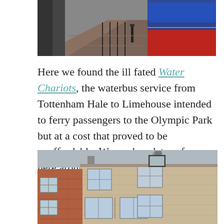[Figure (photo): Top photo showing a waterway path/street scene with a blue and red boat visible on the right side.]
Here we found the ill fated Water Chariots, the waterbus service from Tottenham Hale to Limehouse intended to ferry passengers to the Olympic Park but at a cost that proved to be unaffordable. We made a detour from here around the basin and through Ropemakers Field to Narrow Street and to The Grapes for a late lunch.
[Figure (photo): Bottom photo showing the exterior facade of brick buildings with multiple windows, a mix of red and beige/stone brick construction.]